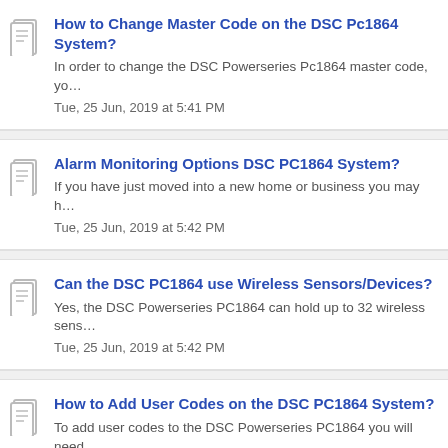How to Change Master Code on the DSC Pc1864 System?
In order to change the DSC Powerseries Pc1864 master code, yo...
Tue, 25 Jun, 2019 at 5:41 PM
Alarm Monitoring Options DSC PC1864 System?
If you have just moved into a new home or business you may h...
Tue, 25 Jun, 2019 at 5:42 PM
Can the DSC PC1864 use Wireless Sensors/Devices?
Yes, the DSC Powerseries PC1864 can hold up to 32 wireless sens...
Tue, 25 Jun, 2019 at 5:42 PM
How to Add User Codes on the DSC PC1864 System?
To add user codes to the DSC Powerseries PC1864 you will need...